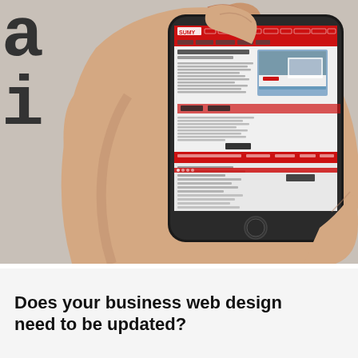[Figure (photo): A hand holding a smartphone displaying a website (SUMY brand) with a red navigation bar and content including an image. Large partial text 'ated' and 'ite?' visible in bold monospace font on the left side of the background.]
Does your business web design need to be updated?